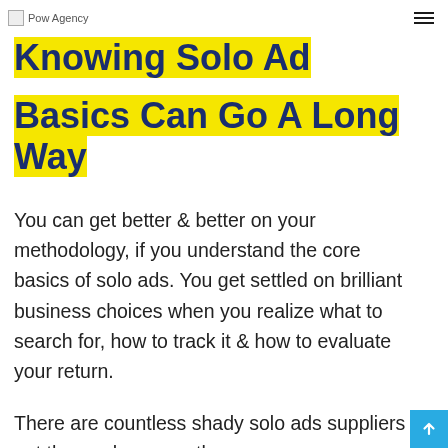Pow Agency
Knowing Solo Ad Basics Can Go A Long Way
You can get better & better on your methodology, if you understand the core basics of solo ads. You get settled on brilliant business choices when you realize what to search for, how to track it & how to evaluate your return.
There are countless shady solo ads suppliers out there – however, there are